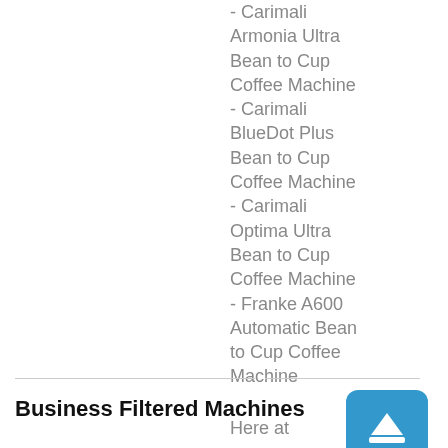- Carimali Armonia Ultra Bean to Cup Coffee Machine
- Carimali BlueDot Plus Bean to Cup Coffee Machine
- Carimali Optima Ultra Bean to Cup Coffee Machine
- Franke A600 Automatic Bean to Cup Coffee Machine
Business Filtered Machines
Here at